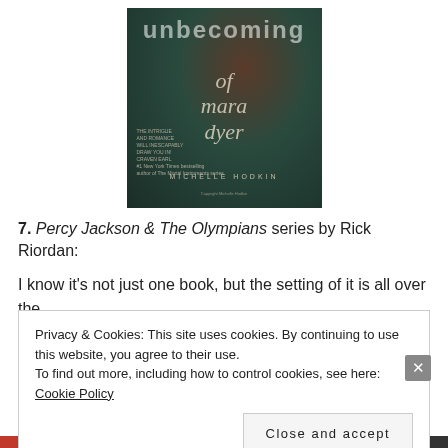[Figure (illustration): Book cover of 'The Unbecoming of Mara Dyer' by Michelle Hodkin. Dark teal/green background with a figure in a red dress. Text on cover includes title in large italic letters, a blurb, and author name MICHELLE HODKIN at the bottom.]
7. Percy Jackson & The Olympians series by Rick Riordan:
I know it's not just one book, but the setting of it is all over the
Privacy & Cookies: This site uses cookies. By continuing to use this website, you agree to their use.
To find out more, including how to control cookies, see here: Cookie Policy
Close and accept